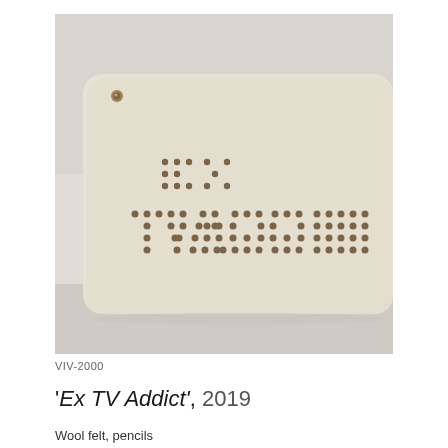[Figure (photo): Close-up photograph of a beige/cream wool felt board with small punched holes forming the text 'EX TV ADDICT' in a dot-matrix style. A nail or fastener is visible in the upper left corner of the board. The board has rounded corners and sits against a light grey background.]
VIV-2000
'Ex TV Addict', 2019
Wool felt, pencils